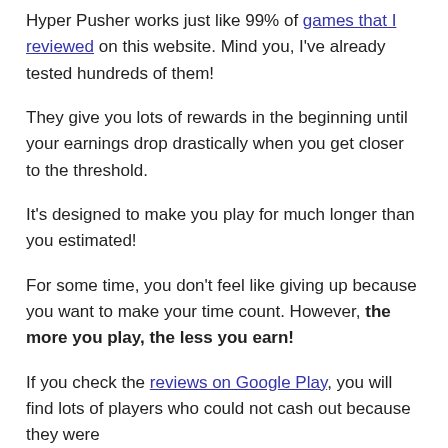Hyper Pusher works just like 99% of games that I reviewed on this website. Mind you, I've already tested hundreds of them!
They give you lots of rewards in the beginning until your earnings drop drastically when you get closer to the threshold.
It's designed to make you play for much longer than you estimated!
For some time, you don't feel like giving up because you want to make your time count. However, the more you play, the less you earn!
If you check the reviews on Google Play, you will find lots of players who could not cash out because they were